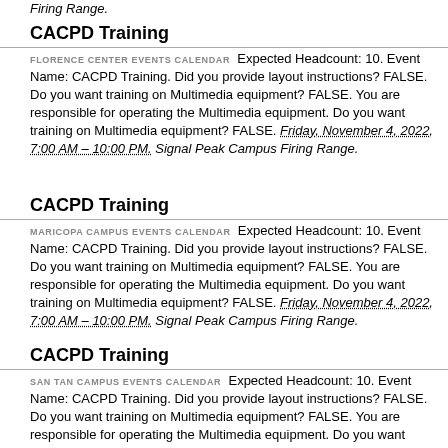Firing Range.
CACPD Training
FLORENCE CENTER EVENTS CALENDAR  Expected Headcount: 10. Event Name: CACPD Training. Did you provide layout instructions? FALSE. Do you want training on Multimedia equipment? FALSE. You are responsible for operating the Multimedia equipment. Do you want training on Multimedia equipment? FALSE. Friday, November 4, 2022, 7:00 AM – 10:00 PM. Signal Peak Campus Firing Range.
CACPD Training
MARICOPA CAMPUS EVENTS CALENDAR  Expected Headcount: 10. Event Name: CACPD Training. Did you provide layout instructions? FALSE. Do you want training on Multimedia equipment? FALSE. You are responsible for operating the Multimedia equipment. Do you want training on Multimedia equipment? FALSE. Friday, November 4, 2022, 7:00 AM – 10:00 PM. Signal Peak Campus Firing Range.
CACPD Training
SAN TAN CAMPUS EVENTS CALENDAR  Expected Headcount: 10. Event Name: CACPD Training. Did you provide layout instructions? FALSE. Do you want training on Multimedia equipment? FALSE. You are responsible for operating the Multimedia equipment. Do you want training on Multimedia equipment? FALSE. Friday, November 4, 2022, 7:00 AM – 10:00 PM. Signal Peak Campus Firing Range.
CACPD Training